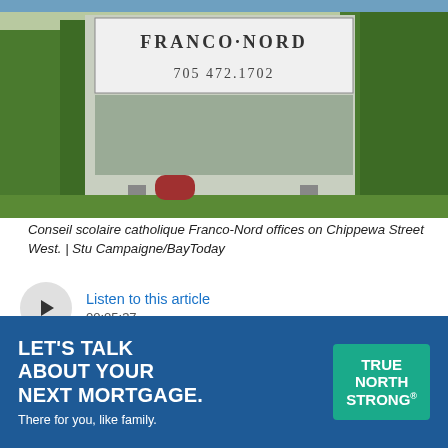[Figure (photo): Outdoor sign for Conseil scolaire catholique Franco-Nord with phone number 705 472.1702, surrounded by trees and landscaping.]
Conseil scolaire catholique Franco-Nord offices on Chippewa Street West.  |  Stu Campaigne/BayToday
[Figure (other): Audio player button with play icon and article duration 00:05:37]
In a letter to members of its school communities, the Conseil scolaire catholique Franco-Nord has provided more details on its response to an antisemitic video
[Figure (other): Advertisement banner: LET'S TALK ABOUT YOUR NEXT MORTGAGE. There for you, like family. TRUE NORTH STRONG]